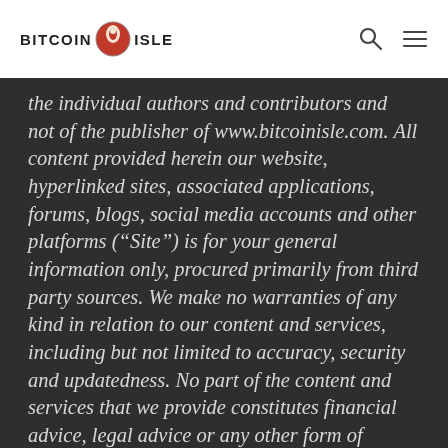BITCOIN ISLE
the individual authors and contributors and not of the publisher of www.bitcoinisle.com. All content provided herein our website, hyperlinked sites, associated applications, forums, blogs, social media accounts and other platforms (“Site”) is for your general information only, procured primarily from third party sources. We make no warranties of any kind in relation to our content and services, including but not limited to accuracy, security and updatedness. No part of the content and services that we provide constitutes financial advice, legal advice or any other form of advice. Any use or reliance on our content and services is solely at your own risk and